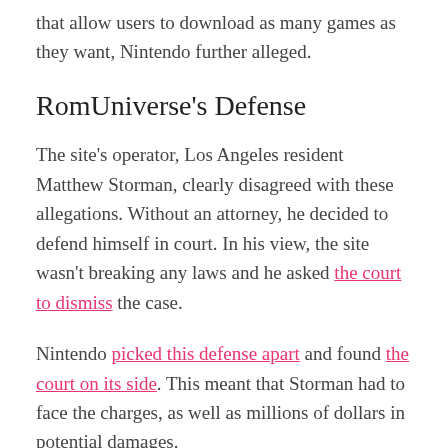that allow users to download as many games as they want, Nintendo further alleged.
RomUniverse's Defense
The site's operator, Los Angeles resident Matthew Storman, clearly disagreed with these allegations. Without an attorney, he decided to defend himself in court. In his view, the site wasn't breaking any laws and he asked the court to dismiss the case.
Nintendo picked this defense apart and found the court on its side. This meant that Storman had to face the charges, as well as millions of dollars in potential damages.